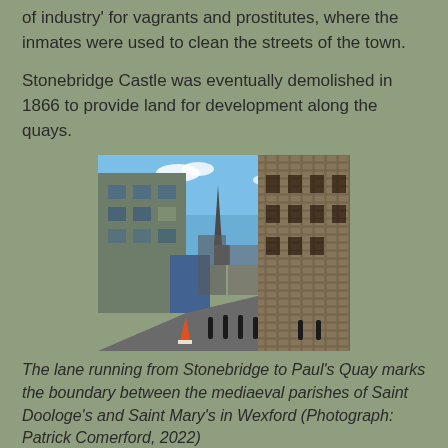of industry' for vagrants and prostitutes, where the inmates were used to clean the streets of the town.
Stonebridge Castle was eventually demolished in 1866 to provide land for development along the quays.
[Figure (photo): A lane running between old stone buildings with a church spire visible in the background, bollards in the road, and a traffic cone visible at lower left.]
The lane running from Stonebridge to Paul's Quay marks the boundary between the mediaeval parishes of Saint Doologe's and Saint Mary's in Wexford (Photograph: Patrick Comerford, 2022)
The lane at Stonebridge is also known as Sinnott's Place...